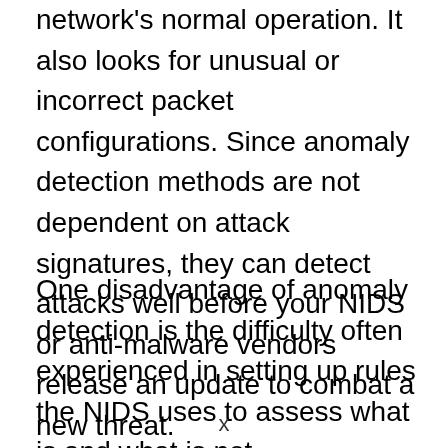network's normal operation. It also looks for unusual or incorrect packet configurations. Since anomaly detection methods are not dependent on attack signatures, they can detect attacks well before your NIDS or anti-malware vendors release an update to combat a new threat.
One disadvantage of anomaly detection is the difficulty often experienced in setting up rules the NIDS uses to assess what is and what is not characteristic of an attack. Although many devices are shipped with some predefined rules, it's rare that an
x